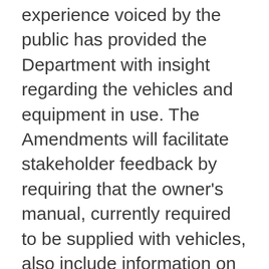experience voiced by the public has provided the Department with insight regarding the vehicles and equipment in use. The Amendments will facilitate stakeholder feedback by requiring that the owner's manual, currently required to be supplied with vehicles, also include information on how to contact the Department in order to report a safety concern relating to a vehicle.
Implementation, enforcement and service standards
Companies are responsible for ensuring